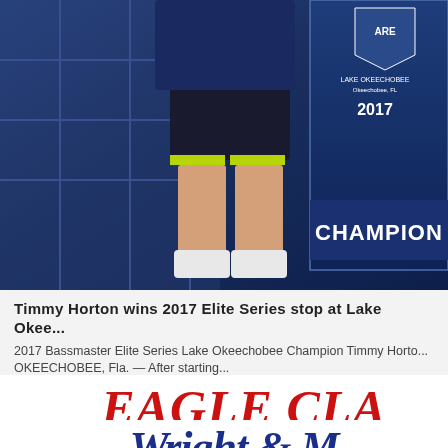[Figure (photo): Photo of Timmy Horton, 2017 Bassmaster Elite Series Champion at Lake Okeechobee, showing lower body of athlete with championship trophy/banner behind them with blue background]
Timmy Horton wins 2017 Elite Series stop at Lake Okee...
2017 Bassmaster Elite Series Lake Okeechobee Champion Timmy Horton. OKEECHOBEE, Fla. — After starting...
[Figure (logo): Eagle Claw logo in large red italic bold text, partially cropped on right side]
[Figure (logo): Wright & McGill (or similar) logo in large dark blue italic bold text, partially cropped on right side]